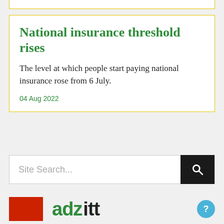National insurance threshold rises
The level at which people start paying national insurance rose from 6 July.
04 Aug 2022
[Figure (screenshot): Search bar with placeholder text 'Site Search...' and a black search button with magnifying glass icon]
[Figure (logo): Website logo with red rectangle and green stylized text partial letters visible]